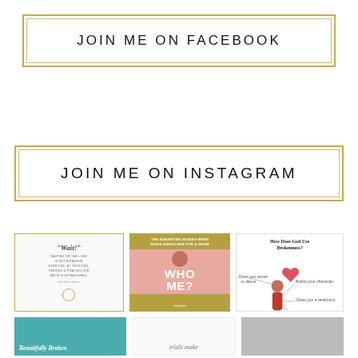JOIN ME ON FACEBOOK
JOIN ME ON INSTAGRAM
[Figure (illustration): Three Instagram post thumbnails: 1) White quote card with gold border reading 'Wait!' and waiting on the Lord quote; 2) Olive/gold card titled 'The Samaritan Woman When Jesus Asked Her For A Drink' with pink section showing woman's face and 'WHO ME?' text; 3) White card titled 'How Does God Use Brokenness?' with infographic diagram of a woman figure with labels]
[Figure (illustration): Three more Instagram post thumbnails partially visible: 1) Teal card with 'Beautifully Broken' italic text; 2) White card with italic script 'trials make'; 3) Gray card partially visible]